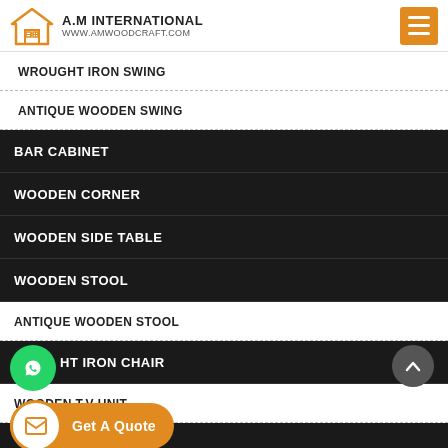A.M INTERNATIONAL www.amwoodcraft.com
WROUGHT IRON SWING
ANTIQUE WOODEN SWING
BAR CABINET
WOODEN CORNER
WOODEN SIDE TABLE
WOODEN STOOL
ANTIQUE WOODEN STOOL
WROUGHT IRON CHAIR
WOODEN T.V UNIT
WOODEN DRESSING TABLE